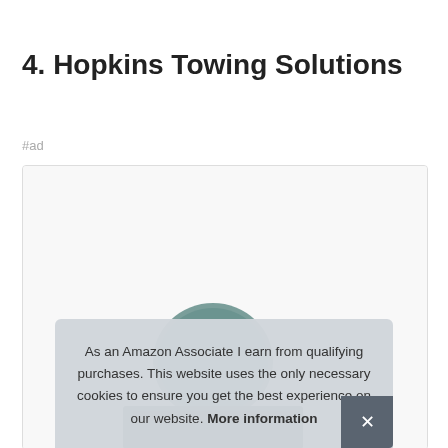4. Hopkins Towing Solutions
#ad
[Figure (photo): Product card showing a partial view of a Hopkins Towing Solutions product image. The image is cut off at the bottom of the page.]
As an Amazon Associate I earn from qualifying purchases. This website uses the only necessary cookies to ensure you get the best experience on our website. More information